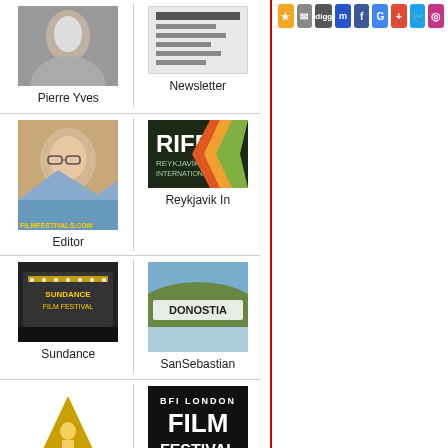[Figure (photo): Social media icon bar: star/favorites, email, digg, myspace, facebook, google, google-plus, twitter, instagram]
[Figure (photo): Pierre Yves portrait photo (grayscale headshot)]
Pierre Yves
[Figure (photo): RIFF (Reykjavik International Film Festival) poster with colorful arrows]
Newsletter
[Figure (photo): Editor portrait photo with filmfestivals.com watermark]
Reykjavik In
Editor
[Figure (photo): Sundance Film Festival marquee sign]
[Figure (photo): Donostia/San Sebastian sign on waterfront]
Sundance
SanSebastian
[Figure (logo): Oscar Academy Awards gold triangle/statuette logo]
[Figure (photo): BFI London Film Festival 2019 poster, 2-13 October]
Oscar The Ac
BFI London F
[Figure (logo): International Film Festival leopard logo (Locarno-style)]
[Figure (photo): Person wearing glasses, partial view]